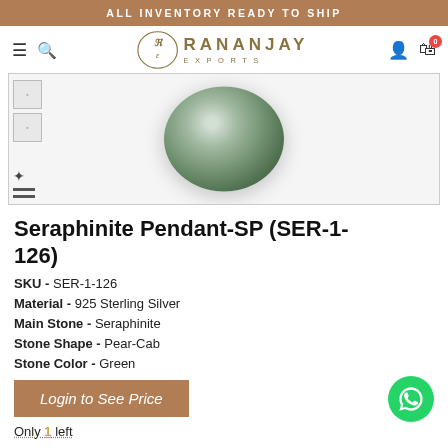ALL INVENTORY READY TO SHIP
[Figure (logo): Rananjay Exports logo with stylized RE emblem and brand name]
[Figure (photo): Seraphinite gemstone pendant on white background, oval green stone with silver setting]
Seraphinite Pendant-SP (SER-1-126)
SKU - SER-1-126
Material - 925 Sterling Silver
Main Stone - Seraphinite
Stone Shape - Pear-Cab
Stone Color - Green
Login to See Price
Only 1 left